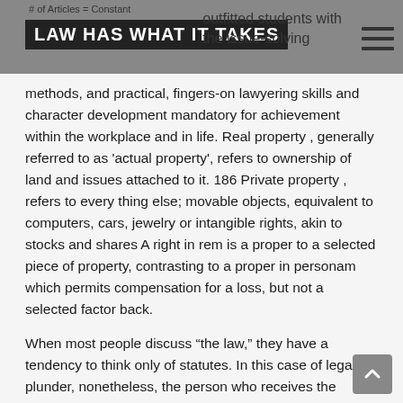LAW HAS WHAT IT TAKES | outfitted students with the issue-solving
methods, and practical, fingers-on lawyering skills and character development mandatory for achievement within the workplace and in life. Real property , generally referred to as 'actual property', refers to ownership of land and issues attached to it. 186 Private property , refers to every thing else; movable objects, equivalent to computers, cars, jewelry or intangible rights, akin to stocks and shares A right in rem is a proper to a selected piece of property, contrasting to a proper in personam which permits compensation for a loss, but not a selected factor back.
When most people discuss “the law,” they have a tendency to think only of statutes. In this case of legal plunder, nonetheless, the person who receives the benefits is not liable for the act of plundering. This is a lot the case that, in the minds of the individuals, law and justice are one and the same thing.